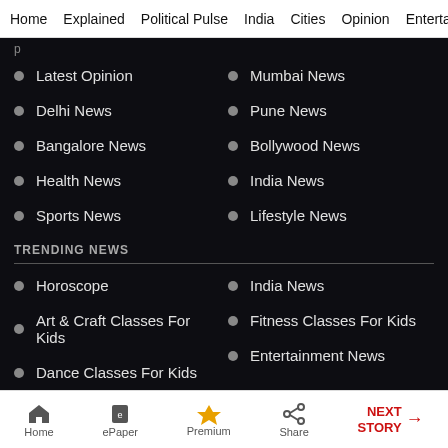Home  Explained  Political Pulse  India  Cities  Opinion  Entertainment
Latest Opinion
Mumbai News
Delhi News
Pune News
Bangalore News
Bollywood News
Health News
India News
Sports News
Lifestyle News
TRENDING NEWS
Horoscope
India News
Art & Craft Classes For Kids
Fitness Classes For Kids
Dance Classes For Kids
Entertainment News
Home  ePaper  Premium  Share  NEXT STORY